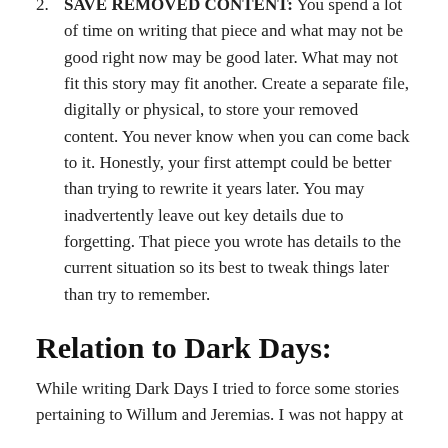2. SAVE REMOVED CONTENT: You spend a lot of time on writing that piece and what may not be good right now may be good later. What may not fit this story may fit another. Create a separate file, digitally or physical, to store your removed content. You never know when you can come back to it. Honestly, your first attempt could be better than trying to rewrite it years later. You may inadvertently leave out key details due to forgetting. That piece you wrote has details to the current situation so its best to tweak things later than try to remember.
Relation to Dark Days:
While writing Dark Days I tried to force some stories pertaining to Willum and Jeremias. I was not happy at